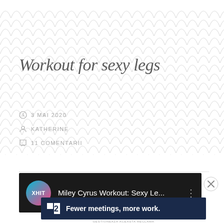[Figure (illustration): Decorative scallop/fish-scale repeating pattern background in light grey on white]
Workout for sexy legs
3 MAI 2020
KATHERINE
11 COMENTARII
[Figure (screenshot): Video thumbnail showing XHIT logo (pink/blue circle) with text 'Miley Cyrus Workout: Sexy Le...' on dark background with three-dot menu icon]
Reclame
[Figure (screenshot): Advertisement banner with dark navy background showing Linear2 logo (square icon with '2') and text 'Fewer meetings, more work.']
GESTIONEAZA ACEASTA RECLAMA